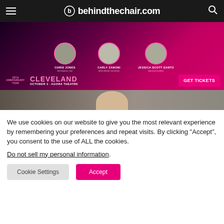behindthechair.com
[Figure (infographic): Advertisement banner for behindthechair.com anniversary tour featuring Chris Jones (@chrisjones_hair), Carly Zanoni (@the.blonde.chronicles), and Jessica Scott Santo (@jessicascotthair). Cleveland, October 3 - Agora Theatre. GET TICKETS button in pink.]
[Figure (photo): Partial photo strip showing a person with blonde hair against a muted background.]
We use cookies on our website to give you the most relevant experience by remembering your preferences and repeat visits. By clicking “Accept”, you consent to the use of ALL the cookies.
Do not sell my personal information.
Cookie Settings
Accept